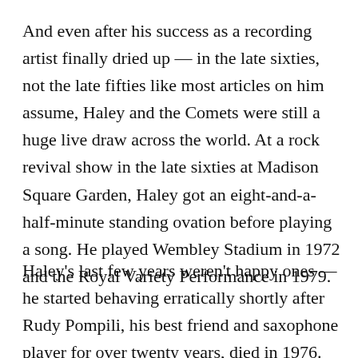And even after his success as a recording artist finally dried up — in the late sixties, not the late fifties like most articles on him assume, Haley and the Comets were still a huge live draw across the world. At a rock revival show in the late sixties at Madison Square Garden, Haley got an eight-and-a-half-minute standing ovation before playing a song. He played Wembley Stadium in 1972 and the Royal Variety Performance in 1979.
Haley's last few years weren't happy ones — he started behaving erratically shortly after Rudy Pompili, his best friend and saxophone player for over twenty years, died in 1976. He gave up performing for a couple of years —